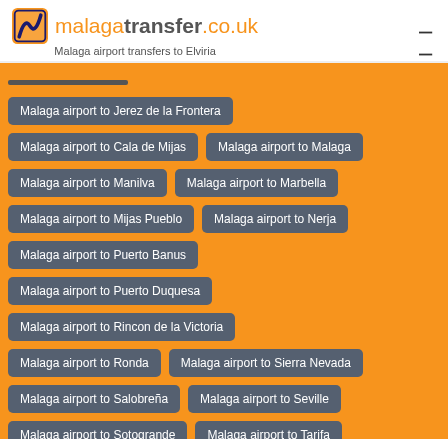[Figure (logo): Malaga Transfer logo with road icon and text malagatransfer.co.uk]
Malaga airport transfers to Elviria
Malaga airport to Jerez de la Frontera
Malaga airport to Cala de Mijas
Malaga airport to Malaga
Malaga airport to Manilva
Malaga airport to Marbella
Malaga airport to Mijas Pueblo
Malaga airport to Nerja
Malaga airport to Puerto Banus
Malaga airport to Puerto Duquesa
Malaga airport to Rincon de la Victoria
Malaga airport to Ronda
Malaga airport to Sierra Nevada
Malaga airport to Salobreña
Malaga airport to Seville
Malaga airport to Sotogrande
Malaga airport to Tarifa